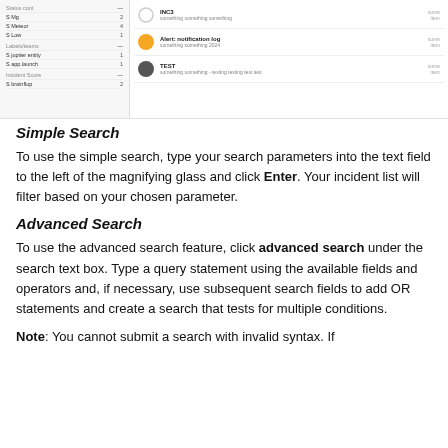[Figure (screenshot): UI screenshot showing an incident list panel with sidebar filters and incident items with colored circle icons, titles, and timestamps.]
Simple Search
To use the simple search, type your search parameters into the text field to the left of the magnifying glass and click Enter. Your incident list will filter based on your chosen parameter.
Advanced Search
To use the advanced search feature, click advanced search under the search text box. Type a query statement using the available fields and operators and, if necessary, use subsequent search fields to add OR statements and create a search that tests for multiple conditions.
Note: You cannot submit a search with invalid syntax. If